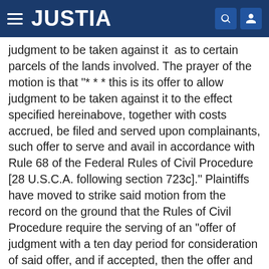JUSTIA
judgment to be taken against it  as to certain parcels of the lands involved. The prayer of the motion is that "* * * this is its offer to allow judgment to be taken against it to the effect specified hereinabove, together with costs accrued, be filed and served upon complainants, such offer to serve and avail in accordance with Rule 68 of the Federal Rules of Civil Procedure [28 U.S.C.A. following section 723c]." Plaintiffs have moved to strike said motion from the record on the ground that the Rules of Civil Procedure require the serving of an "offer of judgment with a ten day period for consideration of said offer, and if accepted, then the offer and acceptance are to be filed"; that this authorizes the clerk to enter judgment therein, but if rejected "it has no effect unless the offeree recovers less than that offered", in which event the latter must pay the costs from the date of offering; and, since plaintiffs have not accepted to said